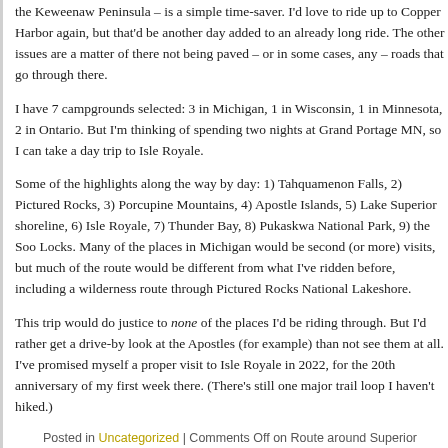the Keweenaw Peninsula – is a simple time-saver. I'd love to ride up to Copper Harbor again, but that'd be another day added to an already long ride. The other issues are a matter of there not being paved – or in some cases, any – roads that go through there.
I have 7 campgrounds selected: 3 in Michigan, 1 in Wisconsin, 1 in Minnesota, 2 in Ontario. But I'm thinking of spending two nights at Grand Portage MN, so I can take a day trip to Isle Royale.
Some of the highlights along the way by day: 1) Tahquamenon Falls, 2) Pictured Rocks, 3) Porcupine Mountains, 4) Apostle Islands, 5) Lake Superior shoreline, 6) Isle Royale, 7) Thunder Bay, 8) Pukaskwa National Park, 9) the Soo Locks. Many of the places in Michigan would be second (or more) visits, but much of the route would be different from what I've ridden before, including a wilderness route through Pictured Rocks National Lakeshore.
This trip would do justice to none of the places I'd be riding through. But I'd rather get a drive-by look at the Apostles (for example) than not see them at all. I've promised myself a proper visit to Isle Royale in 2022, for the 20th anniversary of my first week there. (There's still one major trail loop I haven't hiked.)
Posted in Uncategorized | Comments Off on Route around Superior